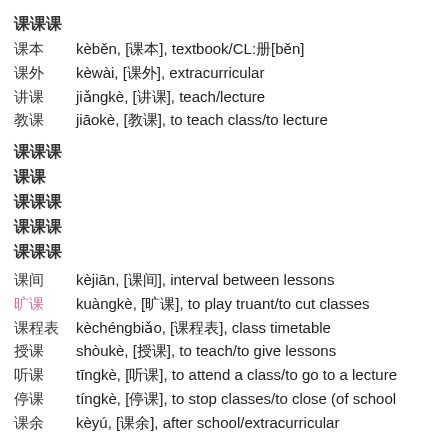课课课
课本　kèběn, [课本], textbook/CL:册[běn]
课外　kèwài, [课外], extracurricular
讲课　jiǎngkè, [讲课], teach/lecture
教课　jiāokè, [教课], to teach class/to lecture
课课课
课课
课课课
课课课
课课课
课间　kèjiān, [课间], interval between lessons
旷课　kuàngkè, [旷课], to play truant/to cut classes
课程表　kèchéngbiǎo, [课程表], class timetable
授课　shòukè, [授课], to teach/to give lessons
听课　tīngkè, [听课], to attend a class/to go to a lecture
停课　tíngkè, [停课], to stop classes/to close (of school
课余　kèyú, [课余], after school/extracurricular